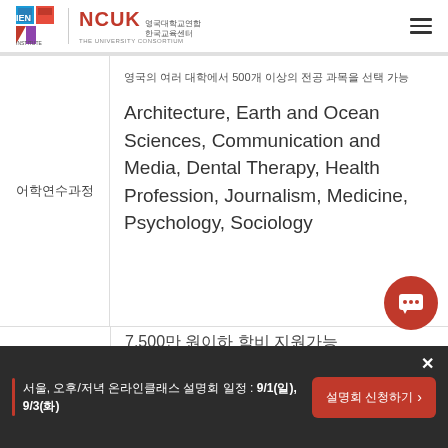[Figure (logo): IEN Institute and NCUK (영국대학교연합 한국교육센터) logo with hamburger menu icon]
영국의 여러 대학에서 500개 이상의 전공 과목을 선택 가능
어학연수과정
Architecture, Earth and Ocean Sciences, Communication and Media, Dental Therapy, Health Profession, Journalism, Medicine, Psychology, Sociology
서울, 오후/저녁 온라인클래스 설명회 일정 : 9/1(일), 9/3(화)
설명회 신청하기 >
7,500만 원이하 학비 지원가능